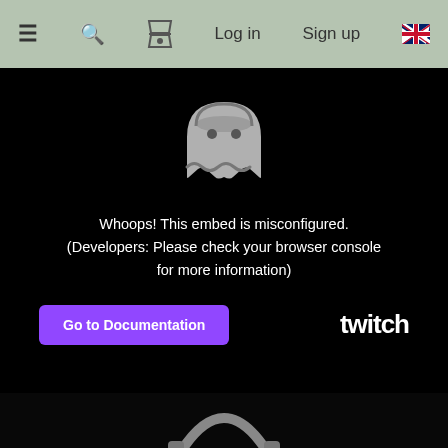≡  🔍  ⏳  Log in  Sign up  🇬🇧
[Figure (screenshot): Twitch embed error screen with ghost icon showing 'Whoops! This embed is misconfigured. (Developers: Please check your browser console for more information)' and a 'Go to Documentation' purple button with Twitch logo]
🖊 6oliath
4 years ago
New PB and WR in blindfolded any%:
[Figure (screenshot): Partial preview of a video thumbnail showing headphones/headset at the bottom of the page]